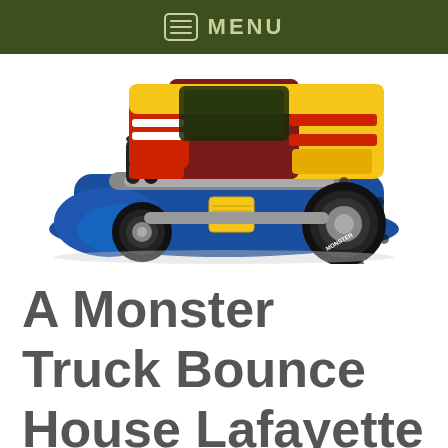MENU
[Figure (photo): Inflatable Monster Truck Bounce House — colorful inflatable shaped like a monster truck with large black tires, blue base, red/yellow/maroon body, on a white background.]
A Monster Truck Bounce House Lafayette La